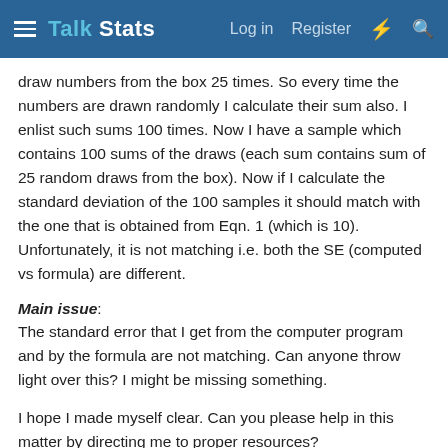Talk Stats — Log in  Register
draw numbers from the box 25 times. So every time the numbers are drawn randomly I calculate their sum also. I enlist such sums 100 times. Now I have a sample which contains 100 sums of the draws (each sum contains sum of 25 random draws from the box). Now if I calculate the standard deviation of the 100 samples it should match with the one that is obtained from Eqn. 1 (which is 10). Unfortunately, it is not matching i.e. both the SE (computed vs formula) are different.
Main issue:
The standard error that I get from the computer program and by the formula are not matching. Can anyone throw light over this? I might be missing something.
I hope I made myself clear. Can you please help in this matter by directing me to proper resources?
katxt
Well-Known Member